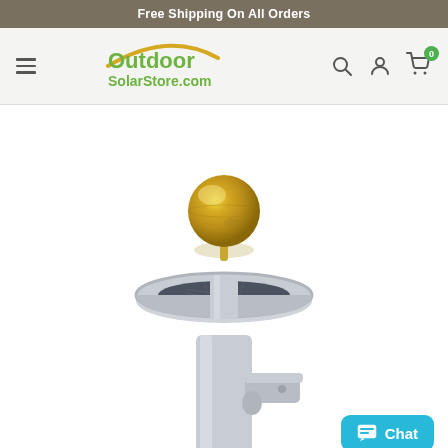Free Shipping On All Orders
[Figure (logo): OutdoorSolarStore.com logo with hamburger menu and navigation icons (search, account, cart with 0 badge)]
[Figure (photo): Solar flagpole light mounted on a white flagpole. The device has a circular disc-shaped solar panel with a gold metallic ball ornament on top. A bracket mount is visible on the pole below the disc.]
Chat